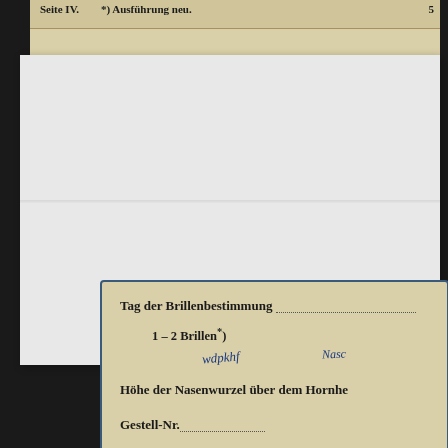Seite IV.  *) Ausführung neu.  5
Tag der Brillenbestimmung ............
1 – 2 Brillen*)
Höhe der Nasenwurzel über dem Hornhe
Gestell-Nr. ..........................